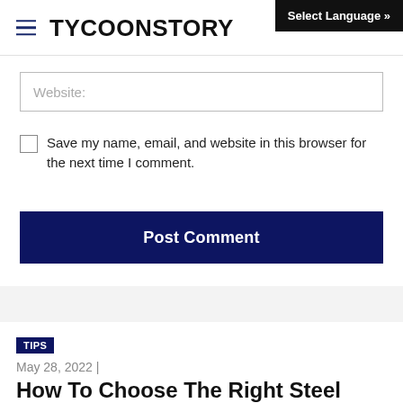TYCOONSTORY
Website:
Save my name, email, and website in this browser for the next time I comment.
Post Comment
Home › Tips › How To Choose The Right Ste...
TIPS
May 28, 2022  |
How To Choose The Right Steel Supplier